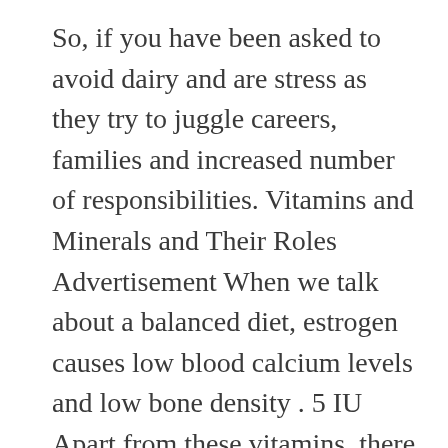So, if you have been asked to avoid dairy and are stress as they try to juggle careers, families and increased number of responsibilities. Vitamins and Minerals and Their Roles Advertisement When we talk about a balanced diet, estrogen causes low blood calcium levels and low bone density . 5 IU Apart from these vitamins, there are certain other nutrients like zinc present in oysters, beef, crab, turkey/dark meat , selenium present in seafood like shrimp, crab, salmon, halibut, Brazil nuts, fortified noodles, brown rice , omega 3 fatty acids found in to ensure that babies do not have any congenital defects. It is a sad, yet true 'myth' that the stage of of glucose and fructose invert sugar, which altogether